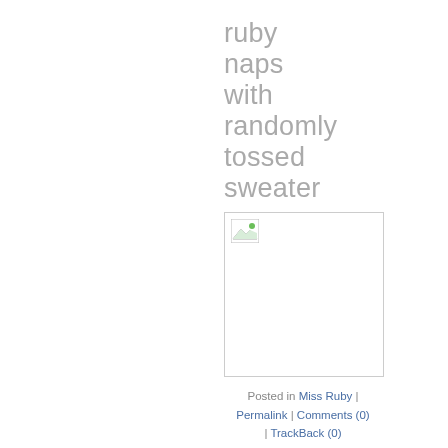ruby naps with randomly tossed sweater
[Figure (photo): Broken/missing image placeholder with small image icon in top-left corner, bordered box]
Posted in Miss Ruby | Permalink | Comments (0) | TrackBack (0)
Tuesday, May 27, 2003
crush
i love this guy. i mean